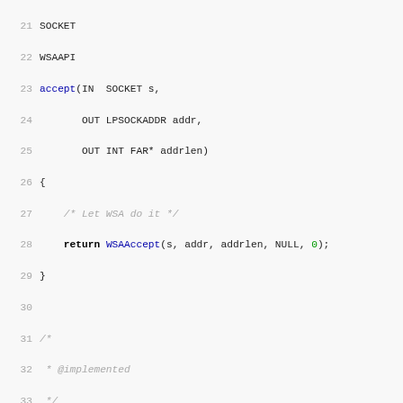[Figure (screenshot): Source code listing in C showing socket API implementation, lines 21-52, including accept() and bind() functions with comments and variable declarations.]